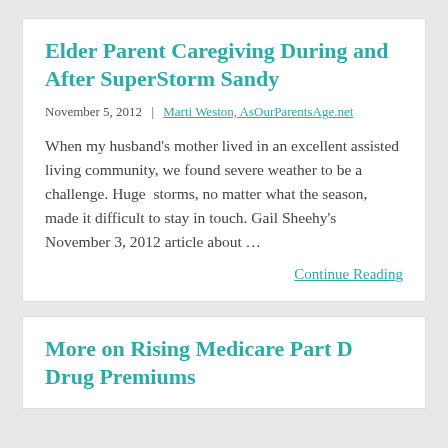Elder Parent Caregiving During and After SuperStorm Sandy
November 5, 2012  |  Marti Weston, AsOurParentsAge.net
When my husband's mother lived in an excellent assisted living community, we found severe weather to be a challenge. Huge  storms, no matter what the season, made it difficult to stay in touch. Gail Sheehy's November 3, 2012 article about …
Continue Reading
More on Rising Medicare Part D Drug Premiums